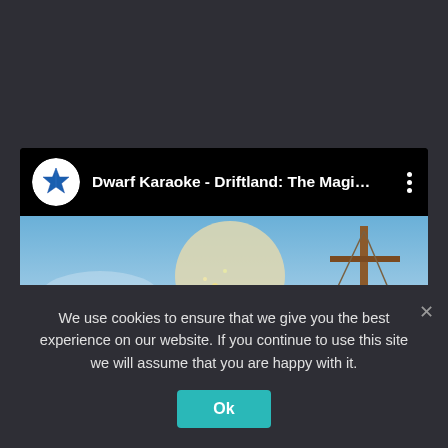[Figure (screenshot): A YouTube-style video card on a dark background. The card header shows a circular channel logo (blue star icon) and the title 'Dwarf Karaoke - Driftland: The Magi...' with a three-dot menu on the right. Below is a fantasy game thumbnail showing a battle scene with floating islands, ships, and fantasy characters.]
We use cookies to ensure that we give you the best experience on our website. If you continue to use this site we will assume that you are happy with it.